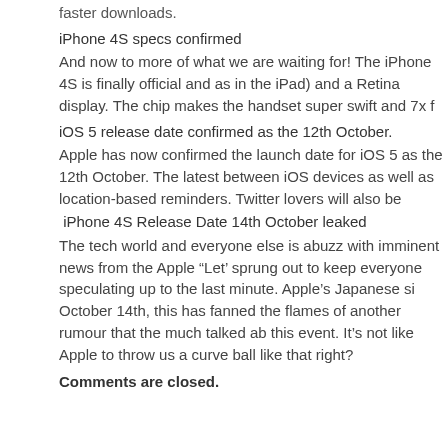faster downloads.
iPhone 4S specs confirmed
And now to more of what we are waiting for! The iPhone 4S is finally official and as in the iPad) and a Retina display. The chip makes the handset super swift and 7x f
iOS 5 release date confirmed as the 12th October.
Apple has now confirmed the launch date for iOS 5 as the 12th October. The latest between iOS devices as well as location-based reminders. Twitter lovers will also be
iPhone 4S Release Date 14th October leaked
The tech world and everyone else is abuzz with imminent news from the Apple "Let' sprung out to keep everyone speculating up to the last minute. Apple’s Japanese si October 14th, this has fanned the flames of another rumour that the much talked ab this event. It’s not like Apple to throw us a curve ball like that right?
Comments are closed.